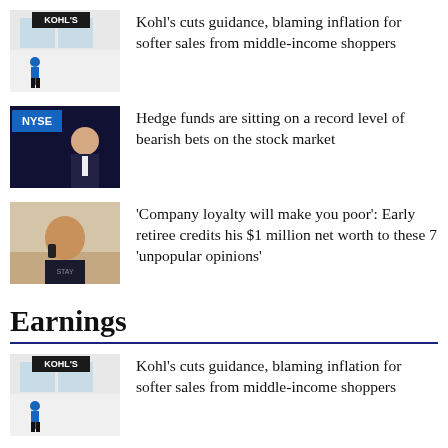[Figure (photo): Kohl's store exterior with blue-uniformed worker walking in]
Kohl’s cuts guidance, blaming inflation for softer sales from middle-income shoppers
[Figure (photo): NYSE sign with man in suit talking on phone]
Hedge funds are sitting on a record level of bearish bets on the stock market
[Figure (photo): Bald man talking on cell phone outdoors]
‘Company loyalty will make you poor’: Early retiree credits his $1 million net worth to these 7 ‘unpopular opinions’
Earnings
[Figure (photo): Kohl's store exterior with blue-uniformed worker walking in (smaller)]
Kohl’s cuts guidance, blaming inflation for softer sales from middle-income shoppers